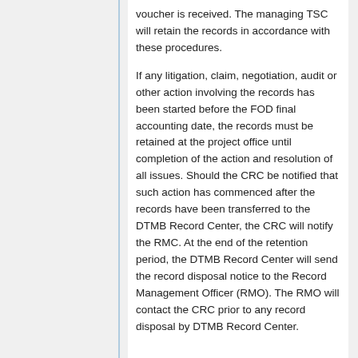voucher is received. The managing TSC will retain the records in accordance with these procedures.
If any litigation, claim, negotiation, audit or other action involving the records has been started before the FOD final accounting date, the records must be retained at the project office until completion of the action and resolution of all issues. Should the CRC be notified that such action has commenced after the records have been transferred to the DTMB Record Center, the CRC will notify the RMC. At the end of the retention period, the DTMB Record Center will send the record disposal notice to the Record Management Officer (RMO). The RMO will contact the CRC prior to any record disposal by DTMB Record Center.